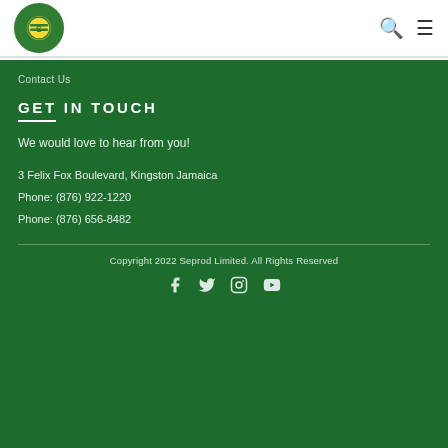Seprod Limited logo, search icon, menu icon
Contact Us
GET IN TOUCH
We would love to hear from you!
3 Felix Fox Boulevard, Kingston Jamaica
Phone: (876) 922-1220
Phone: (876) 656-8482
Copyright 2022 Seprod Limited. All Rights Reserved